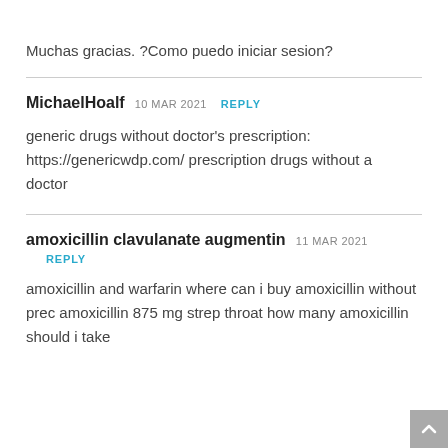Muchas gracias. ?Como puedo iniciar sesion?
MichaelHoalf 10 MAR 2021 REPLY
generic drugs without doctor’s prescription: https://genericwdp.com/ prescription drugs without a doctor
amoxicillin clavulanate augmentin 11 MAR 2021 REPLY
amoxicillin and warfarin where can i buy amoxicillin without prec amoxicillin 875 mg strep throat how many amoxicillin should i take